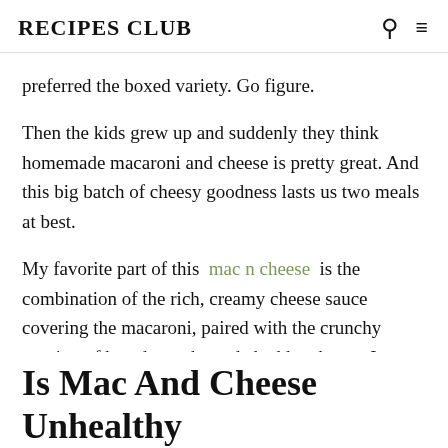RECIPES CLUB
preferred the boxed variety. Go figure.
Then the kids grew up and suddenly they think homemade macaroni and cheese is pretty great. And this big batch of cheesy goodness lasts us two meals at best.
My favorite part of this mac n cheese is the combination of the rich, creamy cheese sauce covering the macaroni, paired with the crunchy topping of bread crumbs and cheddar cheese. Its simply fantastic. The kids today prefer the creamy bottom layer to the crunchy topping, so I gladly take their topping and add it to mine.
Is Mac And Cheese Unhealthy